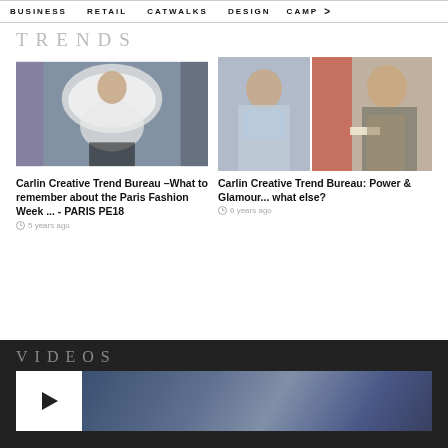BUSINESS   RETAIL   CATWALKS   DESIGN   CAMP >
TRENDS
[Figure (photo): Fashion model wearing white off-shoulder billowy garment on runway]
Carlin Creative Trend Bureau –What to remember about the Paris Fashion Week ... - PARIS PE18
5 years ago
[Figure (photo): Two fashion runway photos side by side: model in silver metallic dress, model in grey leather jacket]
Carlin Creative Trend Bureau: Power & Glamour... what else?
6 years ago
VIDEOS
[Figure (photo): Video thumbnail with play button showing dark blue atmospheric scene]